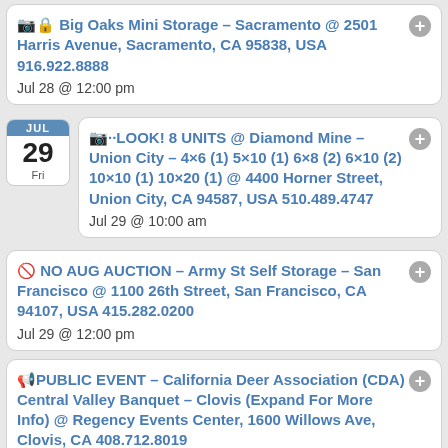📷🔒 Big Oaks Mini Storage – Sacramento @ 2501 Harris Avenue, Sacramento, CA 95838, USA 916.922.8888
Jul 28 @ 12:00 pm
📷··LOOK! 8 UNITS @ Diamond Mine – Union City – 4×6 (1) 5×10 (1) 6×8 (2) 6×10 (2) 10×10 (1) 10×20 (1) @ 4400 Horner Street, Union City, CA 94587, USA 510.489.4747
Jul 29 @ 10:00 am
🚫 NO AUG AUCTION – Army St Self Storage – San Francisco @ 1100 26th Street, San Francisco, CA 94107, USA 415.282.0200
Jul 29 @ 12:00 pm
📢PUBLIC EVENT – California Deer Association (CDA) Central Valley Banquet – Clovis (Expand For More Info) @ Regency Events Center, 1600 Willows Ave, Clovis, CA 408.712.8019
Jul 29 @ 5:00 pm